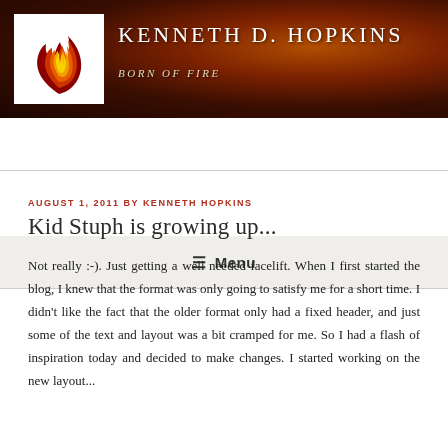KENNETH D. HOPKINS — Born of Fire
≡ Menu
AUGUST 1, 2011 BY KENNETH HOPKINS
Kid Stuph is growing up...
Not really :-). Just getting a well needed facelift. When I first started the blog, I knew that the format was only going to satisfy me for a short time. I didn't like the fact that the older format only had a fixed header, and just some of the text and layout was a bit cramped for me. So I had a flash of inspiration today and decided to make changes. I started working on the new layout...